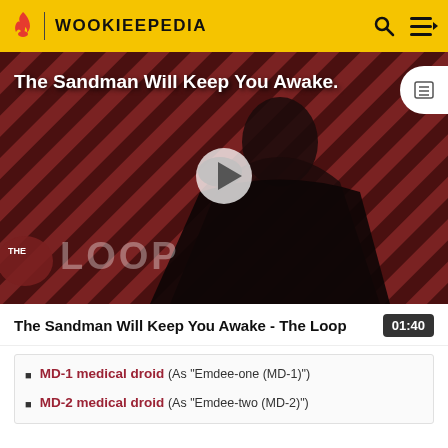WOOKIEEPEDIA
[Figure (screenshot): Video thumbnail showing a dark figure in a cape with 'The Loop' branding, with 'The Sandman Will Keep You Awake.' overlay text and a play button.]
The Sandman Will Keep You Awake - The Loop  01:40
MD-1 medical droid (As "Emdee-one (MD-1)")
MD-2 medical droid (As "Emdee-two (MD-2)")